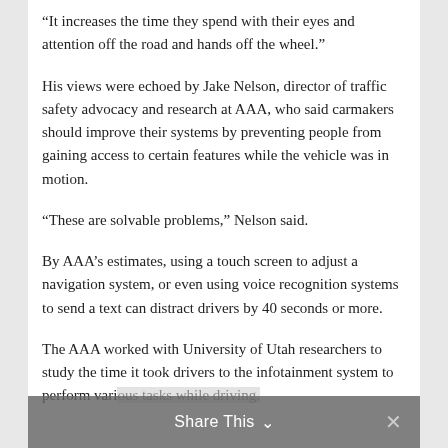“It increases the time they spend with their eyes and attention off the road and hands off the wheel.”
His views were echoed by Jake Nelson, director of traffic safety advocacy and research at AAA, who said carmakers should improve their systems by preventing people from gaining access to certain features while the vehicle was in motion.
“These are solvable problems,” Nelson said.
By AAA’s estimates, using a touch screen to adjust a navigation system, or even using voice recognition systems to send a text can distract drivers by 40 seconds or more.
The AAA worked with University of Utah researchers to study the time it took drivers to the infotainment system to perform various tasks while driving.
Share This ∨ ×